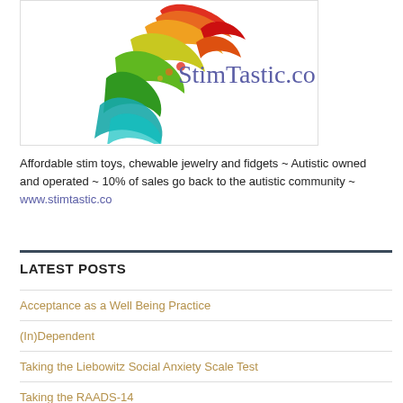[Figure (logo): StimTastic.co logo — colorful swooping leaf/petal shapes in red, orange, yellow, green, teal fanning out above the text 'StimTastic.co' in purple]
Affordable stim toys, chewable jewelry and fidgets ~ Autistic owned and operated ~ 10% of sales go back to the autistic community ~ www.stimtastic.co
LATEST POSTS
Acceptance as a Well Being Practice
(In)Dependent
Taking the Liebowitz Social Anxiety Scale Test
Taking the RAADS-14